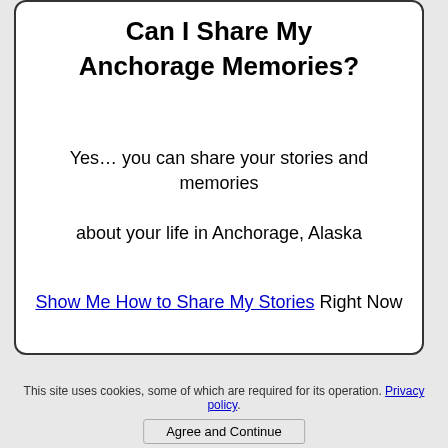Can I Share My Anchorage Memories?
Yes… you can share your stories and memories about your life in Anchorage, Alaska
Show Me How to Share My Stories Right Now
This site uses cookies, some of which are required for its operation. Privacy policy. Agree and Continue